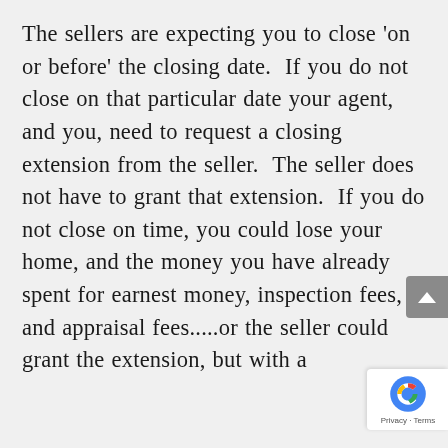The sellers are expecting you to close 'on or before' the closing date.  If you do not close on that particular date your agent, and you, need to request a closing extension from the seller.  The seller does not have to grant that extension.  If you do not close on time, you could lose your home, and the money you have already spent for earnest money, inspection fees, and appraisal fees.....or the seller could grant the extension, but with a